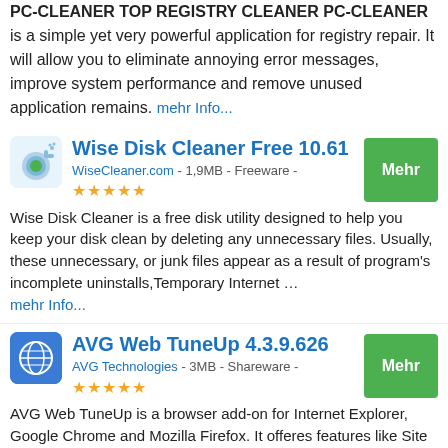PC-CLEANER TOP REGISTRY CLEANER PC-CLEANER is a simple yet very powerful application for registry repair. It will allow you to eliminate annoying error messages, improve system performance and remove unused application remains. mehr Info...
Wise Disk Cleaner Free 10.61
WiseCleaner.com - 1,9MB - Freeware - ★★★★★
Wise Disk Cleaner is a free disk utility designed to help you keep your disk clean by deleting any unnecessary files. Usually, these unnecessary, or junk files appear as a result of program's incomplete uninstalls,Temporary Internet … mehr Info...
AVG Web TuneUp 4.3.9.626
AVG Technologies - 3MB - Shareware - ★★★★★
AVG Web TuneUp is a browser add-on for Internet Explorer, Google Chrome and Mozilla Firefox. It offeres features like Site Safety which provides safety rating for the websites, Do Not Track to block trackers from social and other … mehr Info...
AVS Registry Cleaner 4.1.7.293